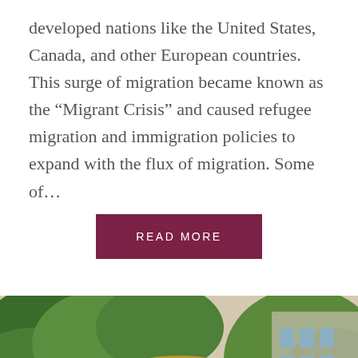developed nations like the United States, Canada, and other European countries. This surge of migration became known as the “Migrant Crisis” and caused refugee migration and immigration policies to expand with the flux of migration. Some of…
READ MORE
[Figure (photo): Portrait photo of a smiling young woman with blonde hair and round glasses, photographed outdoors with green foliage and a brick building in the background.]